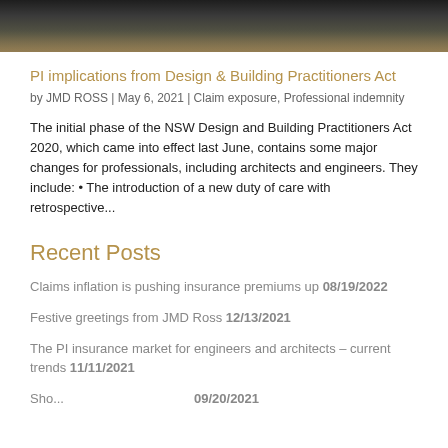[Figure (photo): Partial view of a building under construction or scaffolding, dark tones with brown/tan hues at bottom]
PI implications from Design & Building Practitioners Act
by JMD ROSS | May 6, 2021 | Claim exposure, Professional indemnity
The initial phase of the NSW Design and Building Practitioners Act 2020, which came into effect last June, contains some major changes for professionals, including architects and engineers. They include: • The introduction of a new duty of care with retrospective...
Recent Posts
Claims inflation is pushing insurance premiums up 08/19/2022
Festive greetings from JMD Ross 12/13/2021
The PI insurance market for engineers and architects – current trends 11/11/2021
Shock... 09/20/2021